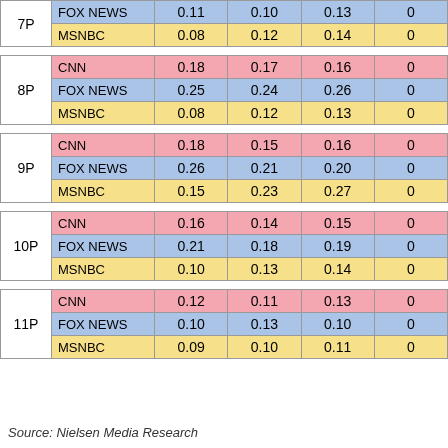| Time | Network | Col1 | Col2 | Col3 | Col4 |
| --- | --- | --- | --- | --- | --- |
| 7P | FOX NEWS | 0.11 | 0.10 | 0.13 | 0... |
| 7P | MSNBC | 0.08 | 0.12 | 0.14 | 0... |
| 8P | CNN | 0.18 | 0.17 | 0.16 | 0... |
| 8P | FOX NEWS | 0.25 | 0.24 | 0.26 | 0... |
| 8P | MSNBC | 0.08 | 0.12 | 0.13 | 0... |
| 9P | CNN | 0.18 | 0.15 | 0.16 | 0... |
| 9P | FOX NEWS | 0.26 | 0.21 | 0.20 | 0... |
| 9P | MSNBC | 0.15 | 0.23 | 0.27 | 0... |
| 10P | CNN | 0.16 | 0.14 | 0.15 | 0... |
| 10P | FOX NEWS | 0.21 | 0.18 | 0.19 | 0... |
| 10P | MSNBC | 0.10 | 0.13 | 0.14 | 0... |
| 11P | CNN | 0.12 | 0.11 | 0.13 | 0... |
| 11P | FOX NEWS | 0.10 | 0.13 | 0.10 | 0... |
| 11P | MSNBC | 0.09 | 0.10 | 0.11 | 0... |
Source: Nielsen Media Research